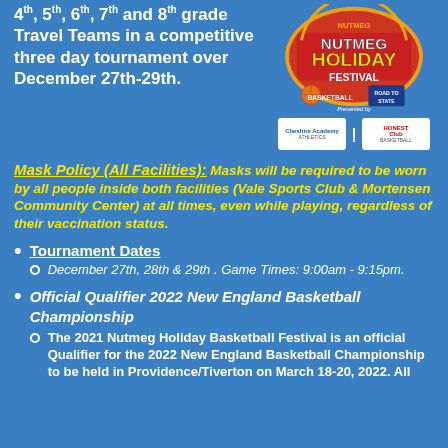4th, 5th, 6th, 7th and 8th grade Travel Teams in a competitive three day tournament over December 27th-29th.
[Figure (logo): Nutmeg Holiday Basketball Festival logo badge with orange/yellow/red design, and sponsor logos below including Cheshire Academy and another organization]
Mask Policy (All Facilities): Masks will be required to be worn by all people inside both facilities (Vale Sports Club & Mortensen Community Center) at all times, even while playing, regardless of their vaccination status.
Tournament Dates
December 27th, 28th & 29th . Game Times: 9:00am - 9:15pm.
Official Qualifier 2022 New England Basketball Championship
The 2021 Nutmeg Holiday Basketball Festival is an official Qualifier for the 2022 New England Basketball Championship to be held in Providence/Tiverton on March 18-20, 2022. All